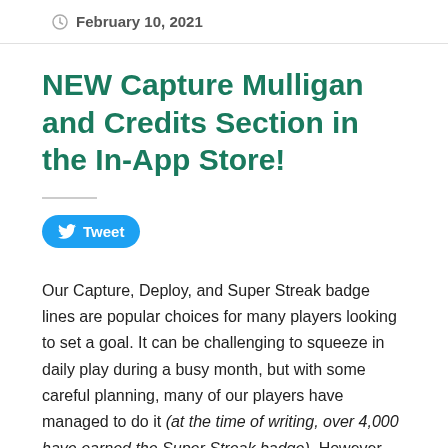February 10, 2021
NEW Capture Mulligan and Credits Section in the In-App Store!
[Figure (other): Twitter Tweet button]
Our Capture, Deploy, and Super Streak badge lines are popular choices for many players looking to set a goal. It can be challenging to squeeze in daily play during a busy month, but with some careful planning, many of our players have managed to do it (at the time of writing, over 4,000 have earned the Super Streak badge). However, the second badge in each line ratchets up the difficulty, requiring an unbroken year of